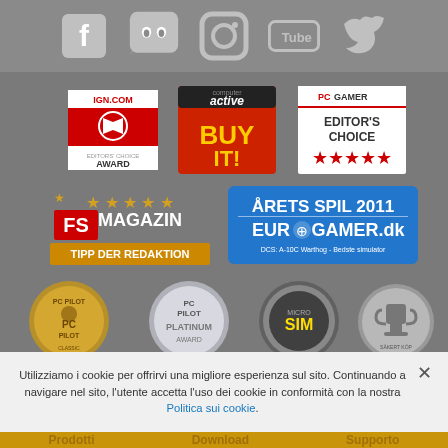[Figure (screenshot): Social media icons: Facebook, Discord, Instagram, YouTube, Twitter on grey background bar at top]
[Figure (logo): Collection of award badges: IGN.com Editor's Choice Award, Computer Active BUY IT!, PC Gamer Editor's Choice 5 stars, FS Magazin Tipp der Redaktion with stars, Årets Spil 2011 EuroGamer.dk DCS A-10C Warthog Bedste simulator, PC Pilot Classic Product, PC Pilot Platinum Award, Micro SIM, Säkert Köp]
Utilizziamo i cookie per offrirvi una migliore esperienza sul sito. Continuando a navigare nel sito, l'utente accetta l'uso dei cookie in conformità con la nostra Politica sui cookie.
Prodotti   Download   Supporto